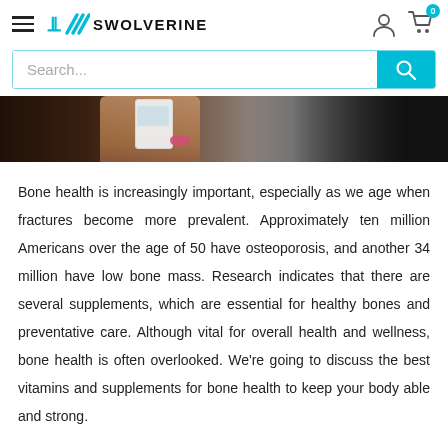[Figure (logo): Swolverine logo with cyan slash marks and bold black text]
[Figure (photo): Dark cropped photo of a person's arm/hand holding a white supplement bottle with a pink bracelet]
Bone health is increasingly important, especially as we age when fractures become more prevalent. Approximately ten million Americans over the age of 50 have osteoporosis, and another 34 million have low bone mass. Research indicates that there are several supplements, which are essential for healthy bones and preventative care. Although vital for overall health and wellness, bone health is often overlooked. We're going to discuss the best vitamins and supplements for bone health to keep your body able and strong.